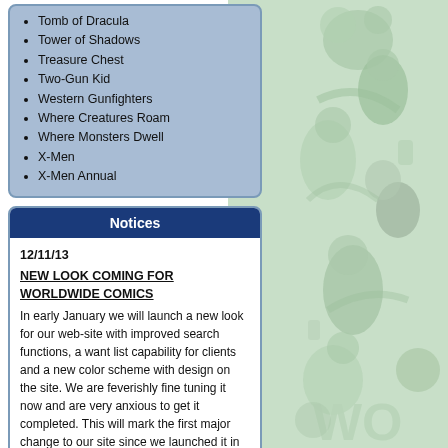Tomb of Dracula
Tower of Shadows
Treasure Chest
Two-Gun Kid
Western Gunfighters
Where Creatures Roam
Where Monsters Dwell
X-Men
X-Men Annual
Notices
12/11/13
NEW LOOK COMING FOR WORLDWIDE COMICS
In early January we will launch a new look for our web-site with improved search functions, a want list capability for clients and a new color scheme with design on the site. We are feverishly fine tuning it now and are very anxious to get it completed. This will mark the first major change to our site since we launched it in 2008.
NEW COLLECTIONS
It is the end of 2013 and we are happy to report that we have
[Figure (illustration): Green-tinted comic book illustration showing various Marvel/comic superhero and monster characters stacked vertically on the right side of the page, with partial 'WO' text visible at bottom]